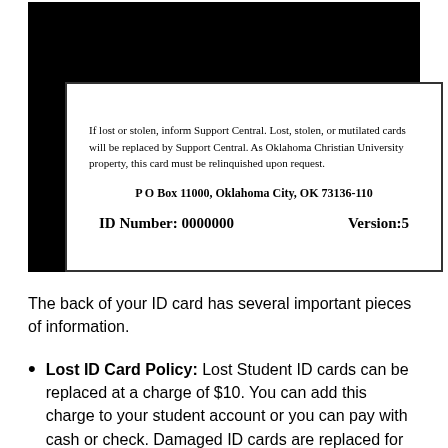[Figure (other): Back of an Oklahoma Christian University ID card showing text about lost/stolen card policy, P O Box 11000 address, ID Number: 0000000, and Version: 5]
The back of your ID card has several important pieces of information.
Lost ID Card Policy: Lost Student ID cards can be replaced at a charge of $10. You can add this charge to your student account or you can pay with cash or check. Damaged ID cards are replaced for free provided you bring the damaged card with you to be replaced. ID cards